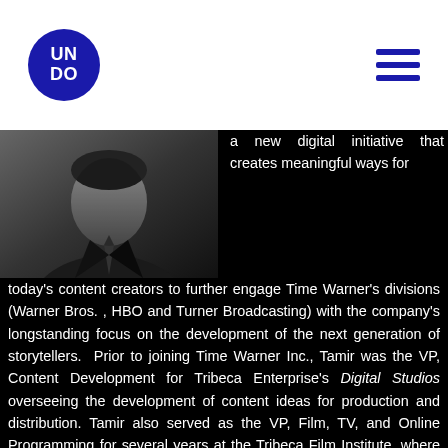UNDO (logo) | hamburger menu
[Figure (photo): Black and white headshot photo of a man in dark clothing against dark background]
a new digital initiative that creates meaningful ways for today's content creators to further engage Time Warner's divisions (Warner Bros. , HBO and Turner Broadcasting) with the company's longstanding focus on the development of the next generation of storytellers. Prior to joining Time Warner Inc., Tamir was the VP, Content Development for Tribeca Enterprise's Digital Studios overseeing the development of content ideas for production and distribution. Tamir also served as the VP, Film, TV, and Online Programming for several years at the Tribeca Film Institute, where he oversaw funding and development of projects by established and emerging